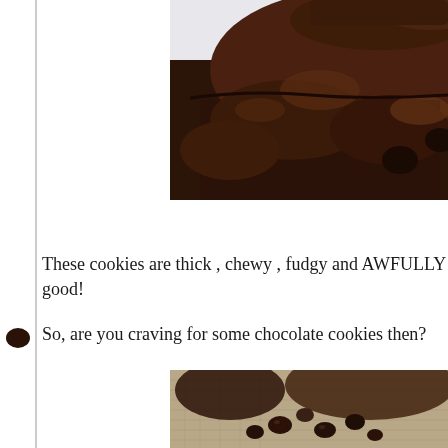[Figure (photo): Close-up macro photo of a dark chocolate cookie broken in half, showing the fudgy interior texture with chocolate chunks, against a light background.]
These cookies are thick , chewy , fudgy and AWFULLY good!
So, are you craving for some chocolate cookies then?
[Figure (photo): Close-up photo of chocolate chips scattered on a burlap/linen fabric surface, with dark chocolate cookies in the background.]